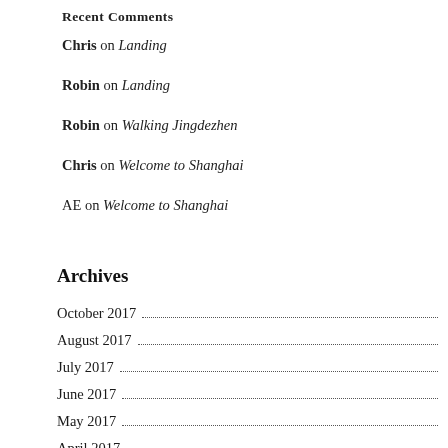Recent Comments
Chris on Landing
Robin on Landing
Robin on Walking Jingdezhen
Chris on Welcome to Shanghai
AE on Welcome to Shanghai
Archives
October 2017
August 2017
July 2017
June 2017
May 2017
April 2017